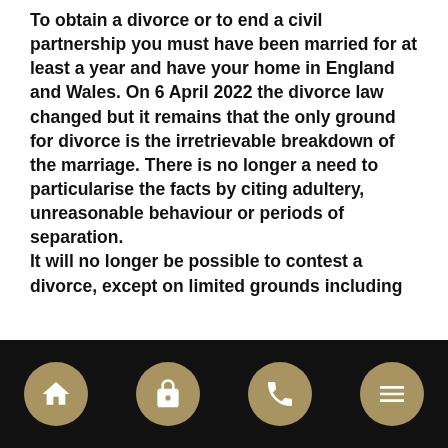To obtain a divorce or to end a civil partnership you must have been married for at least a year and have your home in England and Wales. On 6 April 2022 the divorce law changed but it remains that the only ground for divorce is the irretrievable breakdown of the marriage. There is no longer a need to particularise the facts by citing adultery, unreasonable behaviour or periods of separation.
It will no longer be possible to contest a divorce, except on limited grounds including
[navigation bar with home, lock, phone, menu icons]